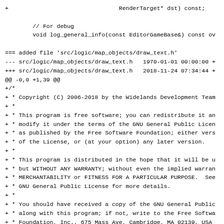+                                RenderTarget* dst) const;

        // For debug
        void log_general_info(const EditorGameBase&) const ov

=== added file 'src/logic/map_objects/draw_text.h'
--- src/logic/map_objects/draw_text.h   1970-01-01 00:00:00 +
+++ src/logic/map_objects/draw_text.h   2018-11-24 07:34:44 +
@@ -0,0 +1,39 @@
+/*
+ * Copyright (C) 2006-2018 by the Widelands Development Team
+ *
+ * This program is free software; you can redistribute it an
+ * modify it under the terms of the GNU General Public Licen
+ * as published by the Free Software Foundation; either vers
+ * of the License, or (at your option) any later version.
+ *
+ * This program is distributed in the hope that it will be u
+ * but WITHOUT ANY WARRANTY; without even the implied warran
+ * MERCHANTABILITY or FITNESS FOR A PARTICULAR PURPOSE.  See
+ * GNU General Public License for more details.
+ *
+ * You should have received a copy of the GNU General Public
+ * along with this program; if not, write to the Free Softwa
+ * Foundation, Inc., 675 Mass Ave, Cambridge, MA 02139, USA